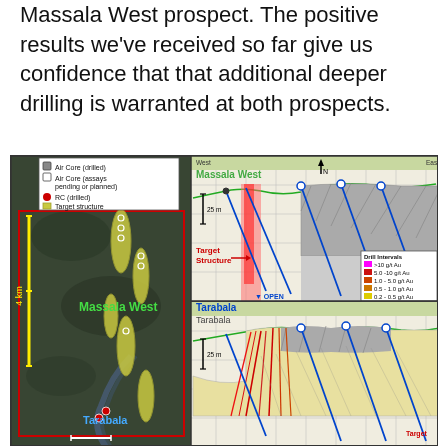Massala West prospect. The positive results we've received so far give us confidence that that additional deeper drilling is warranted at both prospects.
[Figure (engineering-diagram): Left panel: satellite/aerial map showing Massala West and Tarabala drill prospect areas with yellow target structures and drill hole markers, scale bar 4 km. Right panel: two cross-section diagrams for Massala West (top) and Tarabala (bottom) showing geological structure, drill holes, 25m depth scale, Target Structure label with red arrow, OPEN label, Drill Intervals legend (>10 g/t Au, 5.0-10 g/t Au, 1.0-5.0 g/t Au, 0.5-1.0 g/t Au, 0.2-0.5 g/t Au). Legend shows Air Core (drilled), Air Core (assays pending or planned), RC (drilled), Target structure.]